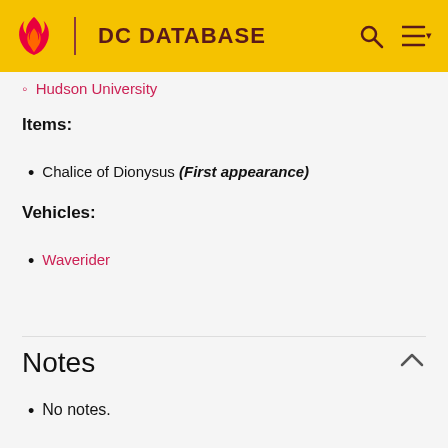DC DATABASE
Hudson University
Items:
Chalice of Dionysus (First appearance)
Vehicles:
Waverider
Notes
No notes.
Trivia